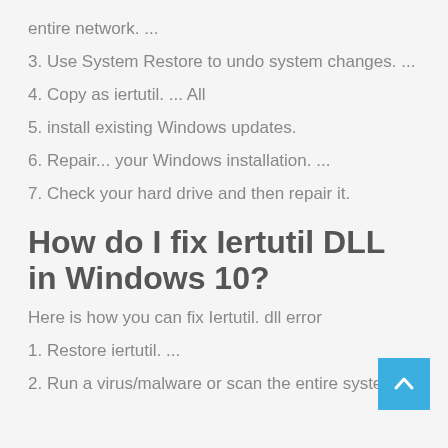entire network. ...
3. Use System Restore to undo system changes. ...
4. Copy as iertutil. ... All
5. install existing Windows updates.
6. Repair... your Windows installation. ...
7. Check your hard drive and then repair it.
How do I fix Iertutil DLL in Windows 10?
Here is how you can fix Iertutil. dll error
1. Restore iertutil. ...
2. Run a virus/malware or scan the entire system.